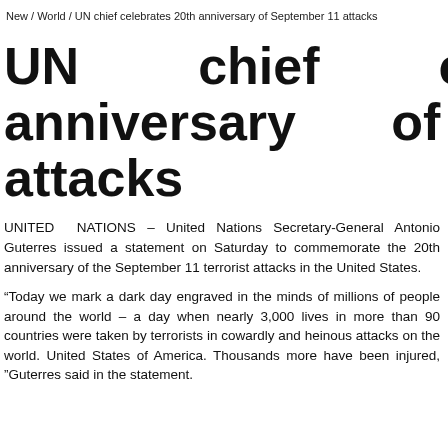New / World / UN chief celebrates 20th anniversary of September 11 attacks
UN chief celebrates 20th anniversary of September 11 attacks
UNITED NATIONS – United Nations Secretary-General Antonio Guterres issued a statement on Saturday to commemorate the 20th anniversary of the September 11 terrorist attacks in the United States.
“Today we mark a dark day engraved in the minds of millions of people around the world – a day when nearly 3,000 lives in more than 90 countries were taken by terrorists in cowardly and heinous attacks on the world. United States of America. Thousands more have been injured, ”Guterres said in the statement.